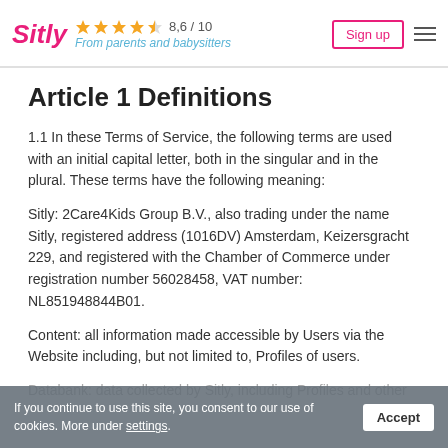Sitly — From parents and babysitters | 8,6 / 10 | Sign up
Article 1 Definitions
1.1 In these Terms of Service, the following terms are used with an initial capital letter, both in the singular and in the plural. These terms have the following meaning:
Sitly: 2Care4Kids Group B.V., also trading under the name Sitly, registered address (1016DV) Amsterdam, Keizersgracht 229, and registered with the Chamber of Commerce under registration number 56028458, VAT number: NL851948844B01.
Content: all information made accessible by Users via the Website including, but not limited to, Profiles of users.
Databank: data collected by Sitly, including Profiles and other
If you continue to use this site, you consent to our use of cookies. More under settings. Accept